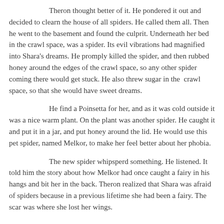Theron thought better of it. He pondered it out and decided to clearn the house of all spiders. He called them all. Then he went to the basement and found the culprit. Underneath her bed in the crawl space, was a spider. Its evil vibrations had magnified into Shara's dreams. He promply killed the spider, and then rubbed honey around the edges of the crawl space, so any other spider coming there would get stuck. He also threw sugar in the  crawl space, so that she would have sweet dreams.
He find a Poinsetta for her, and as it was cold outside it was a nice warm plant. On the plant was another spider. He caught it and put it in a jar, and put honey around the lid. He would use this pet spider, named Melkor, to make her feel better about her phobia.
The new spider whipsperd something. He listened. It told him the story about how Melkor had once caught a fairy in his hangs and bit her in the back. Theron realized that Shara was afraid of spiders because in a previous lifetime she had been a fairy. The scar was where she lost her wings.